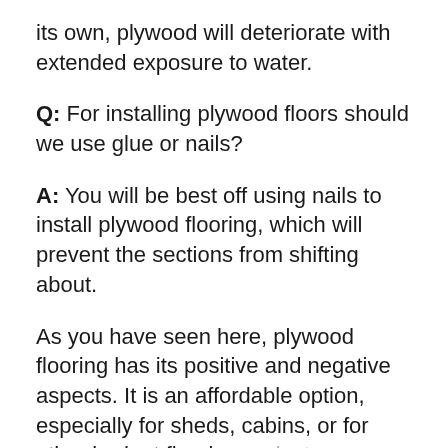its own, plywood will deteriorate with extended exposure to water.
Q: For installing plywood floors should we use glue or nails?
A: You will be best off using nails to install plywood flooring, which will prevent the sections from shifting about.
As you have seen here, plywood flooring has its positive and negative aspects. It is an affordable option, especially for sheds, cabins, or for other budget flooring projects. Knowing a bit about this type of flooring from our discussions in this post